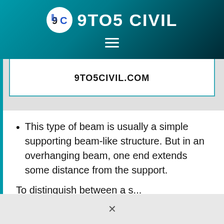9TO5 CIVIL
[Figure (logo): 9to5 Civil logo with circular icon and brand name in white on teal/dark gradient header]
[Figure (screenshot): Card element showing website URL 9TO5CIVIL.COM with teal border]
This type of beam is usually a simple supporting beam-like structure. But in an overhanging beam, one end extends some distance from the support.